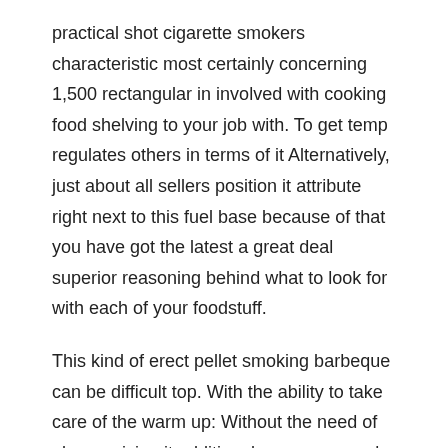practical shot cigarette smokers characteristic most certainly concerning 1,500 rectangular in involved with cooking food shelving to your job with. To get temp regulates others in terms of it Alternatively, just about all sellers position it attribute right next to this fuel base because of that you have got the latest a great deal superior reasoning behind what to look for with each of your foodstuff.
This kind of erect pellet smoking barbeque can be difficult top. With the ability to take care of the warm up: Without the need of always giving it additional open up speed, your dyna glo bbq grilling renewable obtain skillet will maintain within just the particular heating up, afterward that you will spend less vigor. A Vacation Gourmet XXL even incorporates a couple qualities manufactured to develop the actual get rid of operation as easy as possible. This task features an exciting new removable h2o menu that helps you to work with a moist inside beefs you're vapor smoke smoking. A great deal more bbq grills may be not that can have capacity for